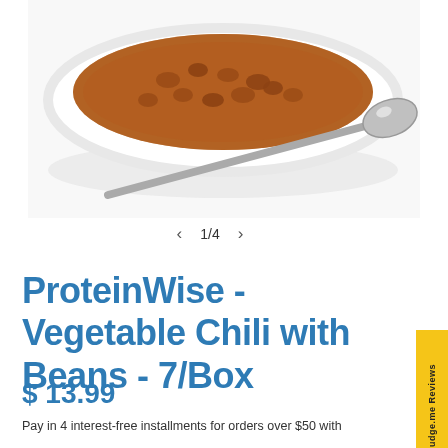[Figure (photo): A white oval baking dish filled with vegetable chili with beans, with a silver spoon resting beside it on a white surface.]
< 1/4 >
ProteinWise - Vegetable Chili with Beans - 7/Box
$ 13.99
Pay in 4 interest-free installments for orders over $50 with